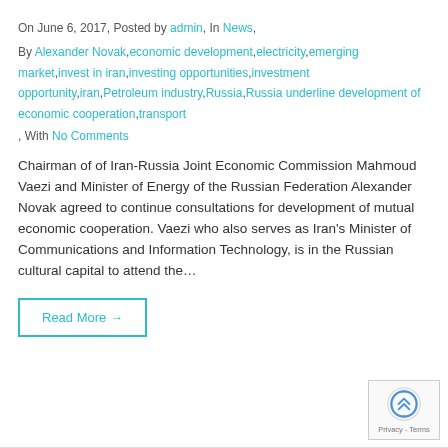On June 6, 2017, Posted by admin, In News,
By Alexander Novak,economic development,electricity,emerging market,invest in iran,investing opportunities,investment opportunity,iran,Petroleum industry,Russia,Russia underline development of economic cooperation,transport
, With No Comments
Chairman of of Iran-Russia Joint Economic Commission Mahmoud Vaezi and Minister of Energy of the Russian Federation Alexander Novak agreed to continue consultations for development of mutual economic cooperation. Vaezi who also serves as Iran's Minister of Communications and Information Technology, is in the Russian cultural capital to attend the…
Read More →